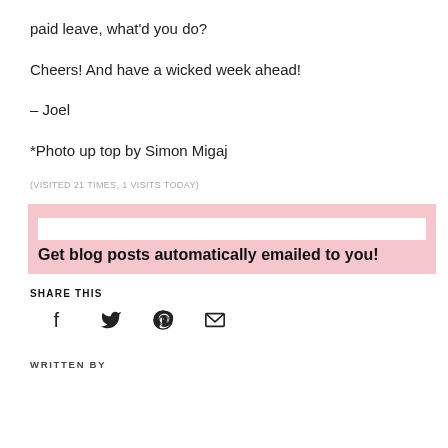paid leave, what'd you do?
Cheers! And have a wicked week ahead!
– Joel
*Photo up top by Simon Migaj
(VISITED 21 TIMES, 1 VISITS TODAY)
[Figure (infographic): Pink newsletter signup banner with white input field area and bold text: Get blog posts automatically emailed to you!]
SHARE THIS
[Figure (infographic): Social share icons: Facebook, Twitter, Pinterest, Email]
WRITTEN BY